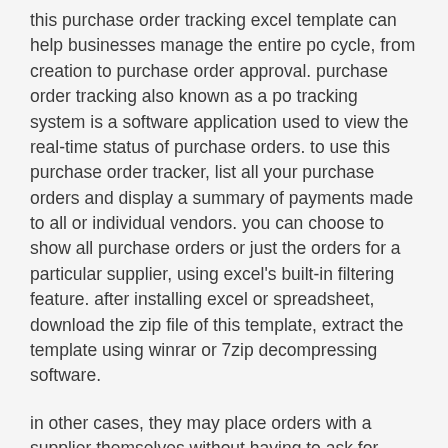this purchase order tracking excel template can help businesses manage the entire po cycle, from creation to purchase order approval. purchase order tracking also known as a po tracking system is a software application used to view the real-time status of purchase orders. to use this purchase order tracker, list all your purchase orders and display a summary of payments made to all or individual vendors. you can choose to show all purchase orders or just the orders for a particular supplier, using excel's built-in filtering feature. after installing excel or spreadsheet, download the zip file of this template, extract the template using winrar or 7zip decompressing software.
in other cases, they may place orders with a supplier themselves without having to ask for authorization. however, they can cause communication issues that result in wrong orders and inefficiencies throughout the supply chain. while one employee places the order, another accepts it and fails to notice items missing. the